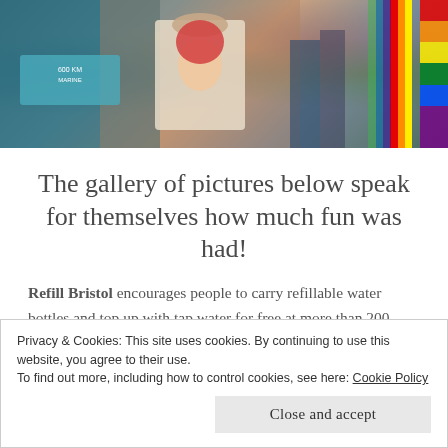[Figure (photo): Photo of people at a market or event stall with tote bags and rainbow flag visible on the right side]
The gallery of pictures below speak for themselves how much fun was had!
Refill Bristol encourages people to carry refillable water bottles and top up with tap water for free at more than 200 Refill stations in the city. Founded by City to Sea, it's all about reducing marine plastic pollution at source, by giving people an alternative to
Privacy & Cookies: This site uses cookies. By continuing to use this website, you agree to their use.
To find out more, including how to control cookies, see here: Cookie Policy
Close and accept